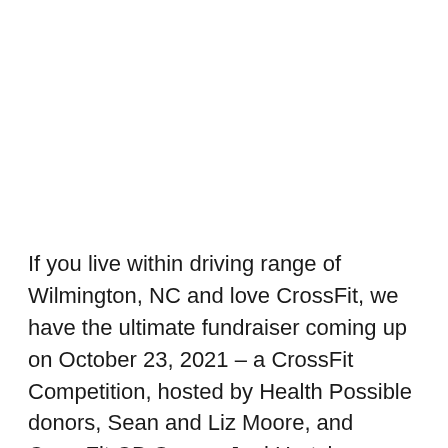If you live within driving range of Wilmington, NC and love CrossFit, we have the ultimate fundraiser coming up on October 23, 2021 – a CrossFit Competition, hosted by Health Possible donors, Sean and Liz Moore, and CrossFit CB Owner, Joel Hartzler.